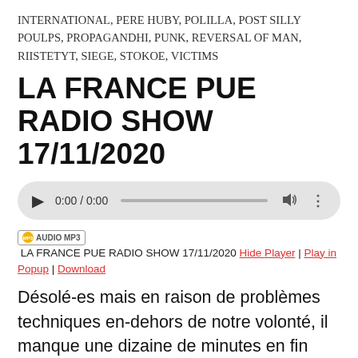INTERNATIONAL, PERE HUBY, POLILLA, POST SILLY POULPS, PROPAGANDHI, PUNK, REVERSAL OF MAN, RIISTETYT, SIEGE, STOKOE, VICTIMS
LA FRANCE PUE RADIO SHOW 17/11/2020
[Figure (other): Audio player widget showing 0:00 / 0:00 with play button, progress bar, volume icon, and options icon]
AUDIO MP3  LA FRANCE PUE RADIO SHOW 17/11/2020  Hide Player | Play in Popup | Download
Désolé-es mais en raison de problèmes techniques en-dehors de notre volonté, il manque une dizaine de minutes en fin